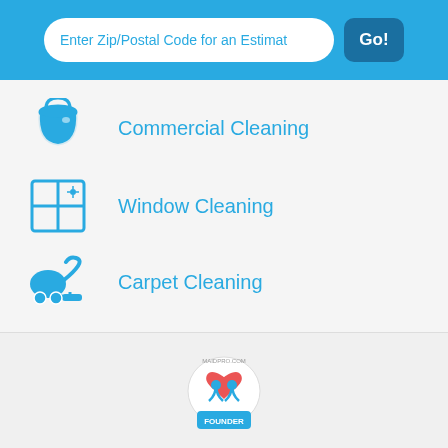Enter Zip/Postal Code for an Estimate — Go!
Commercial Cleaning
Window Cleaning
Carpet Cleaning
[Figure (logo): MaidPro Founder badge/award logo with two figures and a heart]
MaidPro Denton, TX Awards & Recognition
MaidPro Signature Services